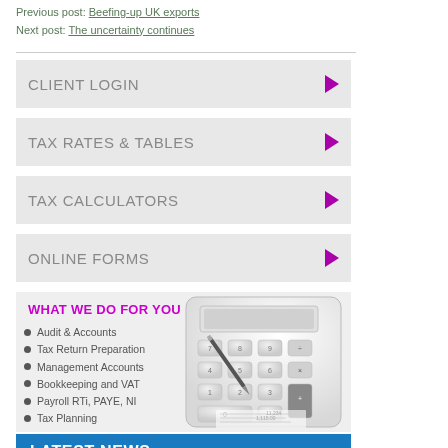Previous post: Beefing-up UK exports
Next post: The uncertainty continues
CLIENT LOGIN
TAX RATES & TABLES
TAX CALCULATORS
ONLINE FORMS
WHAT WE DO FOR YOU
Audit & Accounts
Tax Return Preparation
Management Accounts
Bookkeeping and VAT
Payroll RTi, PAYE, NI
Tax Planning
[Figure (photo): Close-up photo of a calculator with a pen/pencil pointing at keys, overlaid on the 'What we do for you' panel]
LATEST NEWS